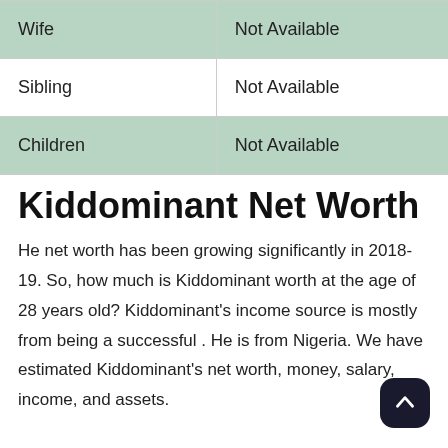| Wife | Not Available |
| Sibling | Not Available |
| Children | Not Available |
Kiddominant Net Worth
He net worth has been growing significantly in 2018-19. So, how much is Kiddominant worth at the age of 28 years old? Kiddominant's income source is mostly from being a successful . He is from Nigeria. We have estimated Kiddominant's net worth, money, salary, income, and assets.